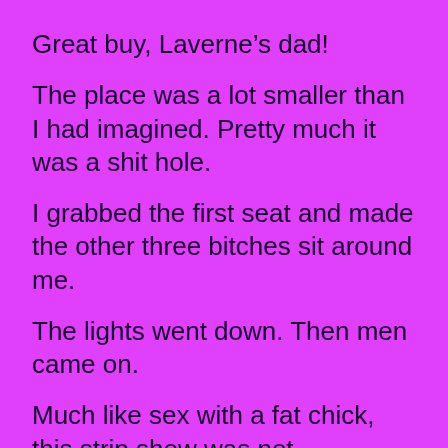Great buy, Laverne’s dad!
The place was a lot smaller than I had imagined. Pretty much it was a shit hole.
I grabbed the first seat and made the other three bitches sit around me.
The lights went down. Then men came on.
Much like sex with a fat chick, this strip show was not something that was supposed to be enjoyed sober.
It had to be the cheese-iest, gay-est piece of crap I’d ever seen. The lip synching was